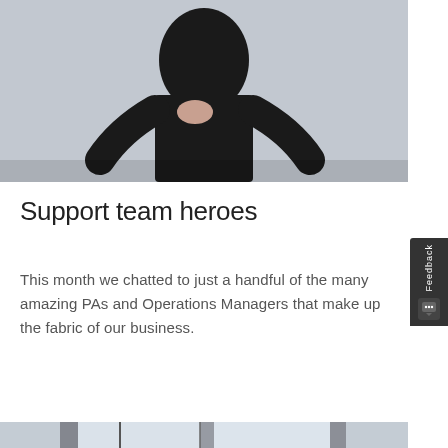[Figure (photo): Person wearing black outfit against a grey/concrete wall background, cropped to show torso and hands]
Support team heroes
This month we chatted to just a handful of the many amazing PAs and Operations Managers that make up the fabric of our business.
Read More
[Figure (photo): Interior office/building space with pendant lamps, skylights and exposed structural beams]